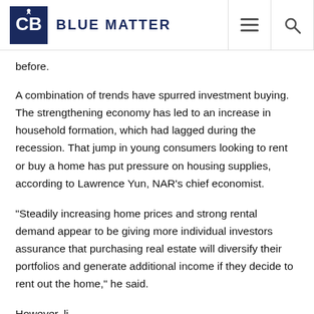Coldwell Banker Blue Matter
before.
A combination of trends have spurred investment buying. The strengthening economy has led to an increase in household formation, which had lagged during the recession. That jump in young consumers looking to rent or buy a home has put pressure on housing supplies, according to Lawrence Yun, NAR's chief economist.
“Steadily increasing home prices and strong rental demand appear to be giving more individual investors assurance that purchasing real estate will diversify their portfolios and generate additional income if they decide to rent out the home,” he said.
However, li...